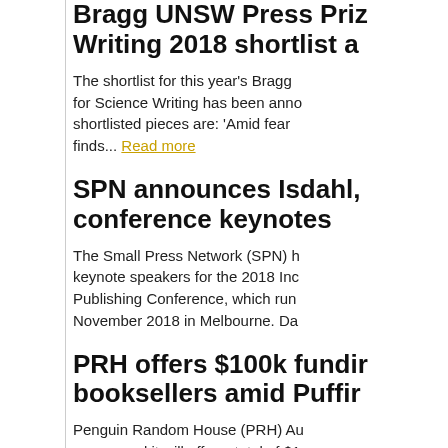Bragg UNSW Press Prize for Science Writing 2018 shortlist a...
The shortlist for this year's Bragg UNSW Press Prize for Science Writing has been announced. The shortlisted pieces are: 'Amid fear a... finds... Read more
SPN announces Isdahl, ... conference keynotes
The Small Press Network (SPN) has announced the keynote speakers for the 2018 Independent Publishing Conference, which runs ... November 2018 in Melbourne. Da...
PRH offers $100k funding... booksellers amid Puffin...
Penguin Random House (PRH) Australia announced it will offer a total of $1... booksellers that run children's rea... Australian bookstores... Read more